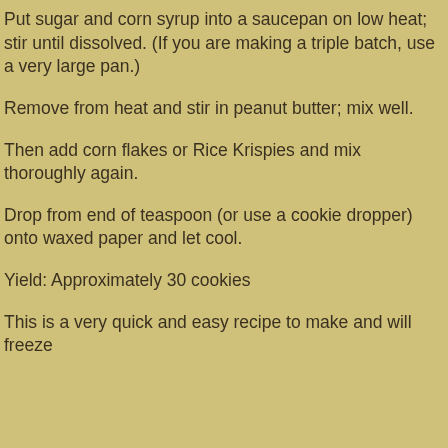Put sugar and corn syrup into a saucepan on low heat; stir until dissolved. (If you are making a triple batch, use a very large pan.)
Remove from heat and stir in peanut butter; mix well.
Then add corn flakes or Rice Krispies and mix thoroughly again.
Drop from end of teaspoon (or use a cookie dropper) onto waxed paper and let cool.
Yield: Approximately 30 cookies
This is a very quick and easy recipe to make and will freeze